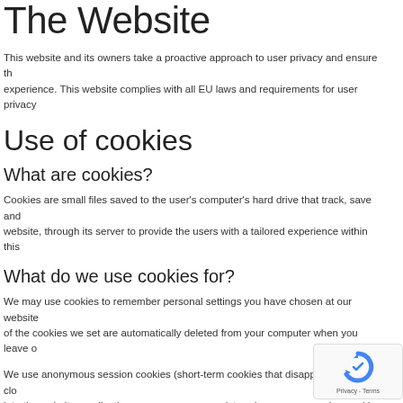The Website
This website and its owners take a proactive approach to user privacy and ensure the experience. This website complies with all EU laws and requirements for user privacy
Use of cookies
What are cookies?
Cookies are small files saved to the user's computer's hard drive that track, save and website, through its server to provide the users with a tailored experience within this
What do we use cookies for?
We may use cookies to remember personal settings you have chosen at our website of the cookies we set are automatically deleted from your computer when you leave o
We use anonymous session cookies (short-term cookies that disappear when you clo into the website, application or a course as a registered user, your session cookie wi
This website uses tracking software to monitor its visitors to better unde usage. The software will save a cookie to your computer's hard drive in personal information.
[Figure (logo): reCAPTCHA badge with logo and Privacy - Terms text]